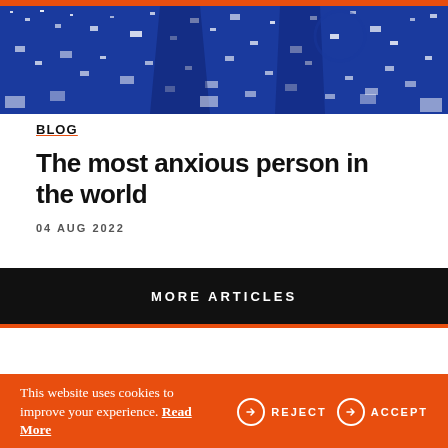[Figure (photo): Blue and white textured illustration/print with abstract forms, dark blue background with white speckles]
BLOG
The most anxious person in the world
04 AUG 2022
MORE ARTICLES
This website uses cookies to improve your experience. Read More
REJECT
ACCEPT